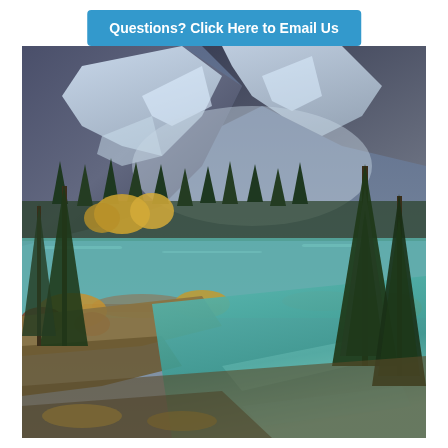Questions? Click Here to Email Us
[Figure (illustration): Oil painting of an alpine landscape featuring snow-capped rocky mountains in the background, a mix of dark green conifer trees and golden autumn deciduous trees in the middle ground, and a calm turquoise river or lake in the foreground with rocky shores and golden-orange shrubs along the banks.]